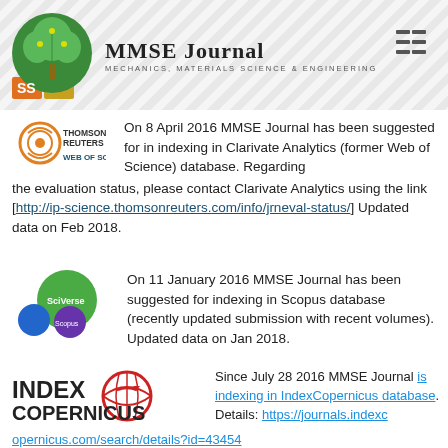MMSE Journal - Mechanics, Materials Science & Engineering
On 8 April 2016 MMSE Journal has been suggested for in indexing in Clarivate Analytics (former Web of Science) database. Regarding the evaluation status, please contact Clarivate Analytics using the link [http://ip-science.thomsonreuters.com/info/jrneval-status/] Updated data on Feb 2018.
On 11 January 2016 MMSE Journal has been suggested for indexing in Scopus database (recently updated submission with recent volumes). Updated data on Jan 2018.
Since July 28 2016 MMSE Journal is indexing in IndexCopernicus database. Details: https://journals.indexcopernicus.com/search/details?id=43454